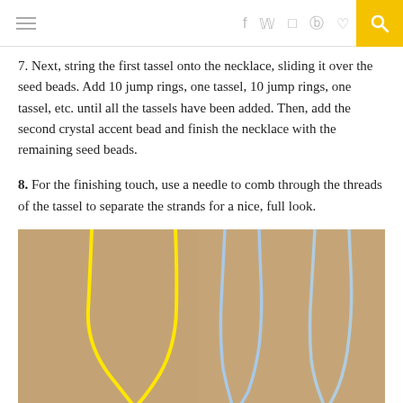Navigation and social icons header
7. Next, string the first tassel onto the necklace, sliding it over the seed beads. Add 10 jump rings, one tassel, 10 jump rings, one tassel, etc. until all the tassels have been added. Then, add the second crystal accent bead and finish the necklace with the remaining seed beads.
8. For the finishing touch, use a needle to comb through the threads of the tassel to separate the strands for a nice, full look.
[Figure (photo): Photo of three tassel strands laid flat on a cardboard/kraft paper background. One bright yellow strand on the left that loops into a V shape, and two light blue strands on the right side also forming V shapes.]